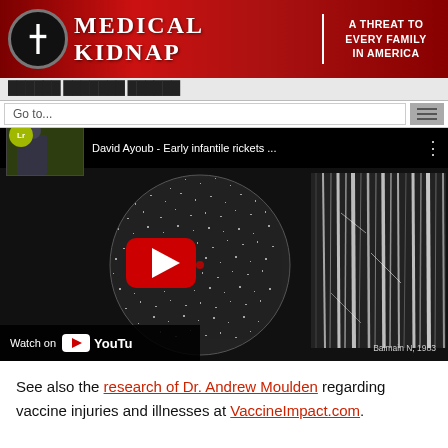MEDICAL KIDNAP | A THREAT TO EVERY FAMILY IN AMERICA
Go to...
[Figure (screenshot): YouTube video thumbnail showing David Ayoub - Early infantile rickets ... with circular static noise image and vertical stripe x-ray image. Caption reads Balmain N, 1983.]
See also the research of Dr. Andrew Moulden regarding vaccine injuries and illnesses at VaccineImpact.com.